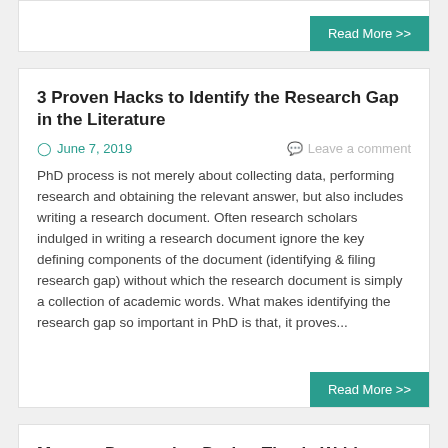Read More >>
3 Proven Hacks to Identify the Research Gap in the Literature
June 7, 2019    Leave a comment
PhD process is not merely about collecting data, performing research and obtaining the relevant answer, but also includes writing a research document. Often research scholars indulged in writing a research document ignore the key defining components of the document (identifying & filing research gap) without which the research document is simply a collection of academic words. What makes identifying the research gap so important in PhD is that, it proves...
Read More >>
Manage Depression During Thesis Writing
November 28, 2017    Leave a comment
Dissertation writing is important if you want to graduate and